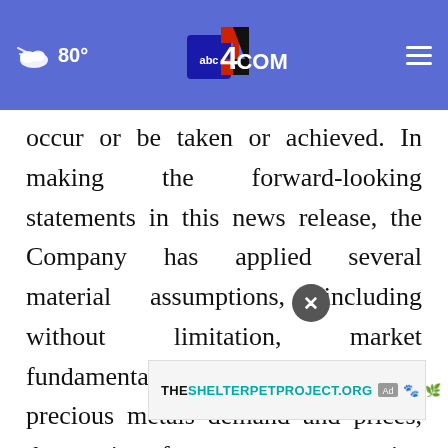80° abc4.com
occur or be taken or achieved. In making the forward-looking statements in this news release, the Company has applied several material assumptions, including without limitation, market fundamentals will result in sustained precious metals demand and prices, the receipt of any necessary permits, licenses and regulatory approvals in connection with the future exploration and development of the Company's, the availability for